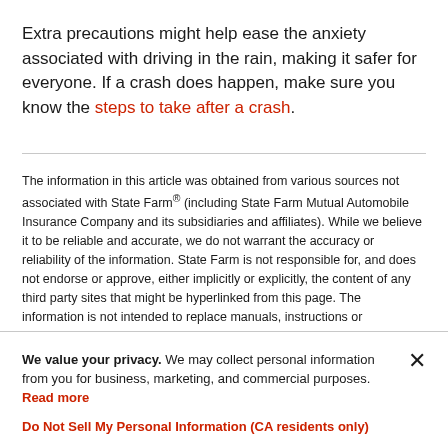Extra precautions might help ease the anxiety associated with driving in the rain, making it safer for everyone. If a crash does happen, make sure you know the steps to take after a crash.
The information in this article was obtained from various sources not associated with State Farm® (including State Farm Mutual Automobile Insurance Company and its subsidiaries and affiliates). While we believe it to be reliable and accurate, we do not warrant the accuracy or reliability of the information. State Farm is not responsible for, and does not endorse or approve, either implicitly or explicitly, the content of any third party sites that might be hyperlinked from this page. The information is not intended to replace manuals, instructions or information provided by a manufacturer or the advice of
We value your privacy. We may collect personal information from you for business, marketing, and commercial purposes. Read more
Do Not Sell My Personal Information (CA residents only)